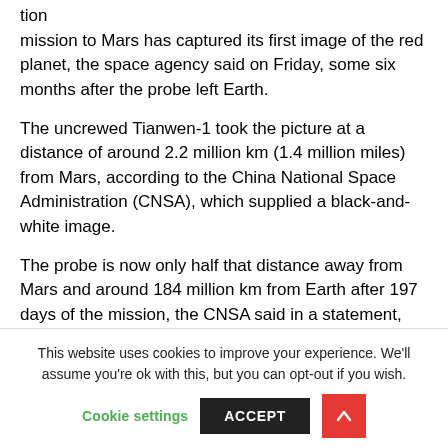tion mission to Mars has captured its first image of the red planet, the space agency said on Friday, some six months after the probe left Earth.
The uncrewed Tianwen-1 took the picture at a distance of around 2.2 million km (1.4 million miles) from Mars, according to the China National Space Administration (CNSA), which supplied a black-and-white image.
The probe is now only half that distance away from Mars and around 184 million km from Earth after 197 days of the mission, the CNSA said in a statement, adding that its systems were in good condition
This website uses cookies to improve your experience. We'll assume you're ok with this, but you can opt-out if you wish.